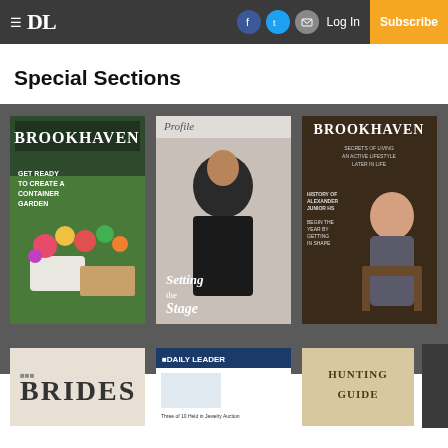≡ DL | Log In | Subscribe
Special Sections
[Figure (illustration): Brookhaven magazine cover with container garden flowers]
[Figure (illustration): Profile magazine cover with man and text 'Setting the Stage']
[Figure (illustration): Brookhaven magazine cover with elderly woman, 'Secrets of Living an Active Lifestyle Later in Life']
[Figure (illustration): Brides magazine cover]
[Figure (illustration): Daily Leader newspaper cover]
[Figure (illustration): Hunting Guide magazine cover]